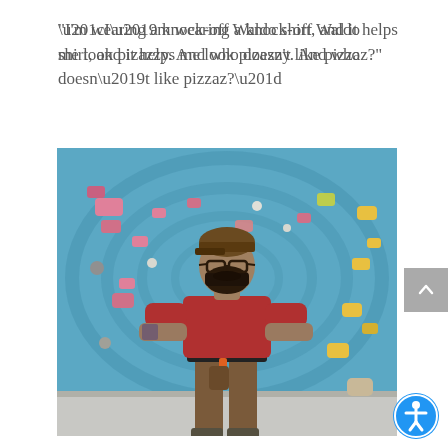“I’m wearing a knock-off Waldo shirt, and it helps me look pizazzy. And who doesn’t like pizzaz?”
[Figure (photo): A man with a beard and glasses, wearing a red t-shirt, brown pants, and a climbing harness, standing with hands on hips in front of a blue indoor climbing wall with colorful holds.]